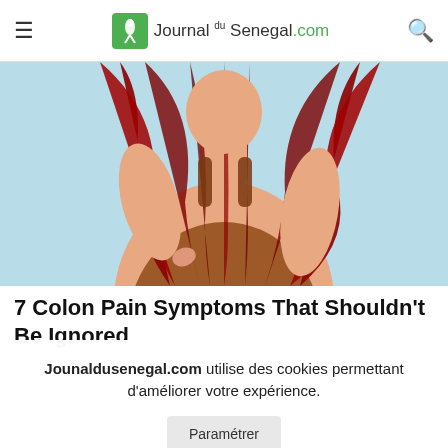Journal du Senegal.com
[Figure (illustration): Cartoon/illustration of a woman with long red hair wearing a brown tank top, holding her side/abdomen, light blue background]
7 Colon Pain Symptoms That Shouldn't Be Ignored
Jounaldusenegal.com utilise des cookies permettant d'améliorer votre expérience.
Paramétrer
ACCEPTER